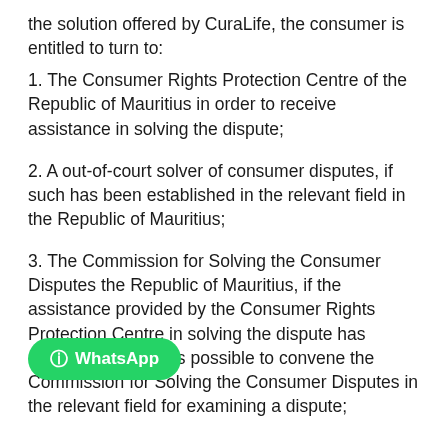the solution offered by CuraLife, the consumer is entitled to turn to:
1. The Consumer Rights Protection Centre of the Republic of Mauritius in order to receive assistance in solving the dispute;
2. A out-of-court solver of consumer disputes, if such has been established in the relevant field in the Republic of Mauritius;
3. The Commission for Solving the Consumer Disputes the Republic of Mauritius, if the assistance provided by the Consumer Rights Protection Centre in solving the dispute has not and it is possible to convene the Commission for Solving the Consumer Disputes in the relevant field for examining a dispute;